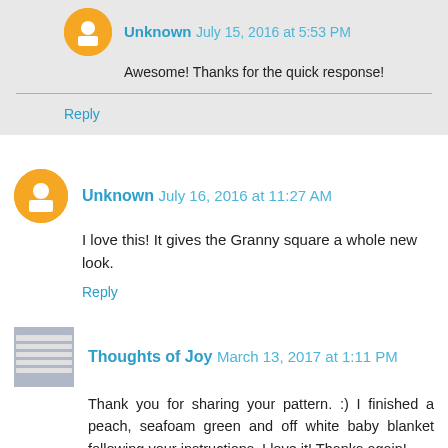Unknown July 15, 2016 at 5:53 PM
Awesome! Thanks for the quick response!
Reply
Unknown July 16, 2016 at 11:27 AM
I love this! It gives the Granny square a whole new look.
Reply
Thoughts of Joy March 13, 2017 at 1:11 PM
Thank you for sharing your pattern. :) I finished a peach, seafoam green and off white baby blanket following your instructions. I love it! Thanks again!
Reply